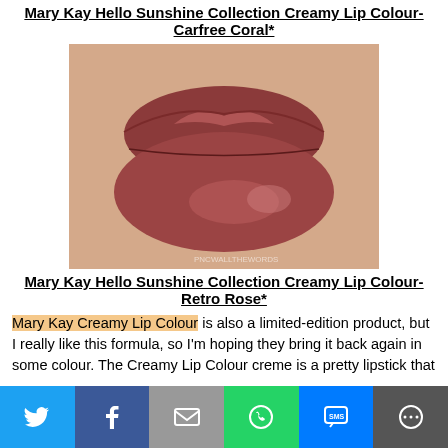Mary Kay Hello Sunshine Collection Creamy Lip Colour- Carfree Coral*
[Figure (photo): Close-up photo of lips wearing a rosy-coral creamy lip colour, with watermark PNCWALLTHEWORDS]
Mary Kay Hello Sunshine Collection Creamy Lip Colour- Retro Rose*
Mary Kay Creamy Lip Colour is also a limited-edition product, but I really like this formula, so I'm hoping they bring it back again in some colour. The Creamy Lip Colour creme is a pretty lipstick that
[Figure (infographic): Social sharing bar with Twitter, Facebook, Email, WhatsApp, SMS, and More buttons]